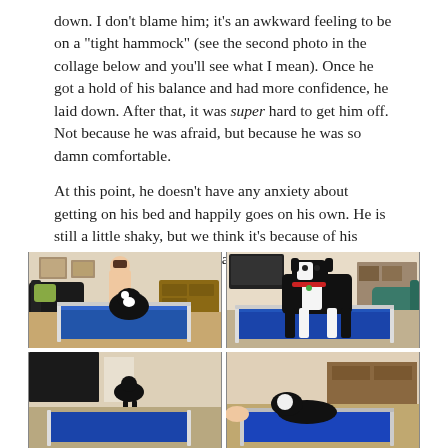down. I don't blame him; it's an awkward feeling to be on a "tight hammock" (see the second photo in the collage below and you'll see what I mean). Once he got a hold of his balance and had more confidence, he laid down. After that, it was super hard to get him off. Not because he was afraid, but because he was so damn comfortable.

At this point, he doesn't have any anxiety about getting on his bed and happily goes on his own. He is still a little shaky, but we think it's because of his weak joints and maybe because he's still a little unbalanced.
[Figure (photo): A 2x2 collage of photos showing a large black and white dog (likely a Great Dane) on a blue elevated dog bed/hammock. Top left: a person helping the dog onto the bed. Top right: the dog standing on the blue bed alone. Bottom left and right: partially visible additional photos of the dog on or near the bed.]